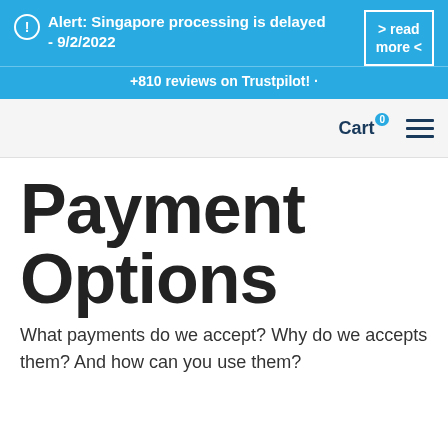Alert: Singapore processing is delayed - 9/2/2022
+810 reviews on Trustpilot!
Cart 0
Payment Options
What payments do we accept? Why do we accepts them? And how can you use them?